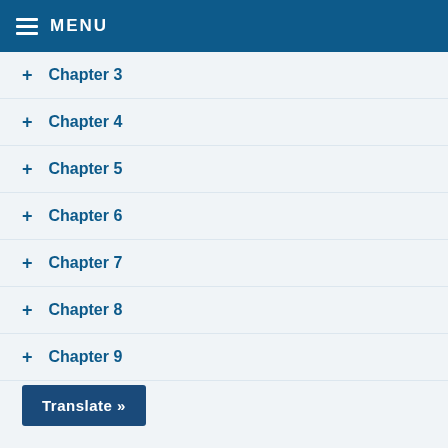MENU
+ Chapter 3
+ Chapter 4
+ Chapter 5
+ Chapter 6
+ Chapter 7
+ Chapter 8
+ Chapter 9
Translate »